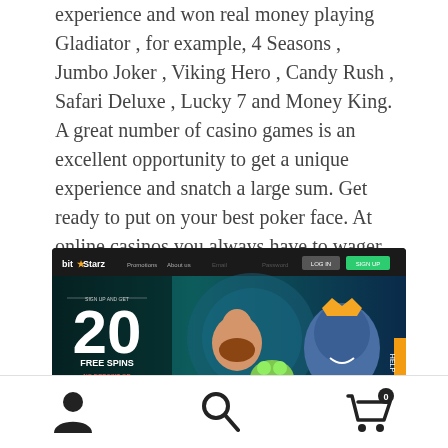experience and won real money playing Gladiator , for example, 4 Seasons , Jumbo Joker , Viking Hero , Candy Rush , Safari Deluxe , Lucky 7 and Money King. A great number of casino games is an excellent opportunity to get a unique experience and snatch a large sum. Get ready to put on your best poker face. At online casinos you always have to wager play through your bonus money a certain amount of time before you can withdraw your winnings.
[Figure (screenshot): Screenshot of BitStarz online casino website showing a promotional banner with '20 FREE SPINS NO DEPOSIT OR BONUS CODE REQUIRED' and a 'SIGN UP NOW' button, with cartoon characters on a teal/dark background.]
Navigation icons: user profile, search, shopping cart (0)